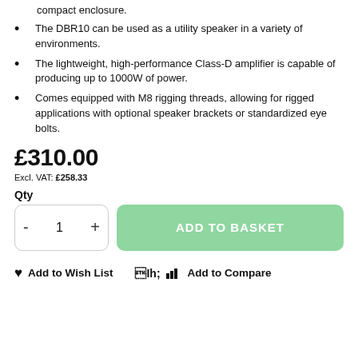compact enclosure.
The DBR10 can be used as a utility speaker in a variety of environments.
The lightweight, high-performance Class-D amplifier is capable of producing up to 1000W of power.
Comes equipped with M8 rigging threads, allowing for rigged applications with optional speaker brackets or standardized eye bolts.
£310.00
Excl. VAT: £258.33
Qty
ADD TO BASKET
Add to Wish List
Add to Compare